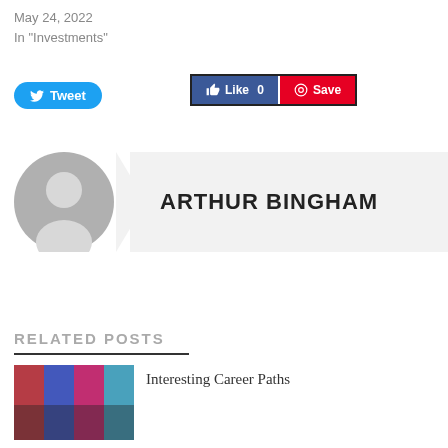May 24, 2022
In "Investments"
[Figure (screenshot): Social sharing buttons: Tweet (Twitter), Like 0 (Facebook), Save (Pinterest)]
[Figure (illustration): Author avatar placeholder (grey silhouette) with author name box: ARTHUR BINGHAM]
RELATED POSTS
Interesting Career Paths